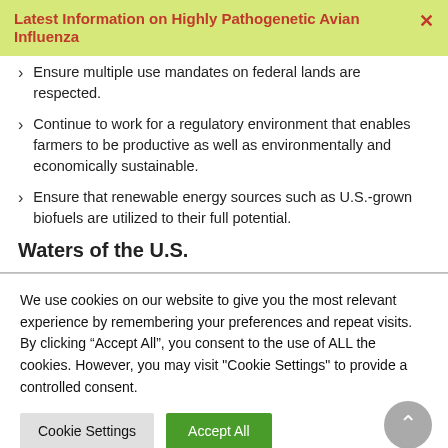Latest Information on Highly Pathogenetic Avian Influenza
Ensure multiple use mandates on federal lands are respected.
Continue to work for a regulatory environment that enables farmers to be productive as well as environmentally and economically sustainable.
Ensure that renewable energy sources such as U.S.-grown biofuels are utilized to their full potential.
Waters of the U.S.
We use cookies on our website to give you the most relevant experience by remembering your preferences and repeat visits. By clicking “Accept All”, you consent to the use of ALL the cookies. However, you may visit "Cookie Settings" to provide a controlled consent.